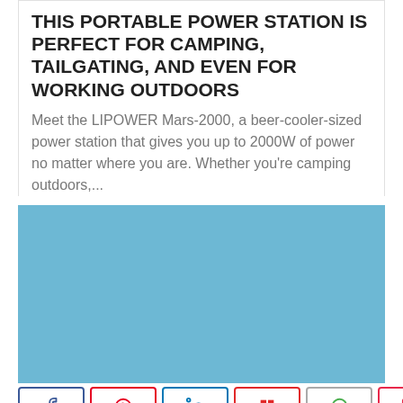THIS PORTABLE POWER STATION IS PERFECT FOR CAMPING, TAILGATING, AND EVEN FOR WORKING OUTDOORS
Meet the LIPOWER Mars-2000, a beer-cooler-sized power station that gives you up to 2000W of power no matter where you are. Whether you're camping outdoors,...
[Figure (other): Light blue rectangular placeholder image]
< 250 SHARES